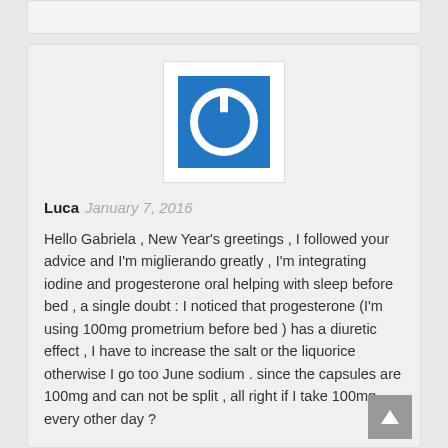[Figure (logo): Blue square power button icon on white background]
Luca  January 7, 2016
Hello Gabriela , New Year's greetings , I followed your advice and I'm miglierando greatly , I'm integrating iodine and progesterone oral helping with sleep before bed , a single doubt : I noticed that progesterone (I'm using 100mg prometrium before bed ) has a diuretic effect , I have to increase the salt or the liquorice otherwise I go too June sodium . since the capsules are 100mg and can not be split , all right if I take 100mg every other day ?